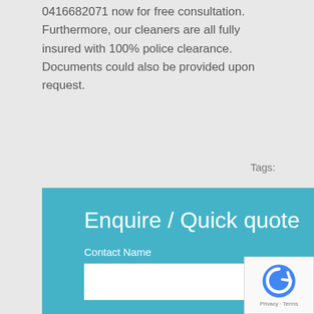0416682071 now for free consultation. Furthermore, our cleaners are all fully insured with 100% police clearance. Documents could also be provided upon request.
Tags:
[Figure (screenshot): Web form with teal/cyan background titled 'Enquire / Quick quote' containing fields: Contact Name, Preferred Service Time, Address, Suburb with white input boxes]